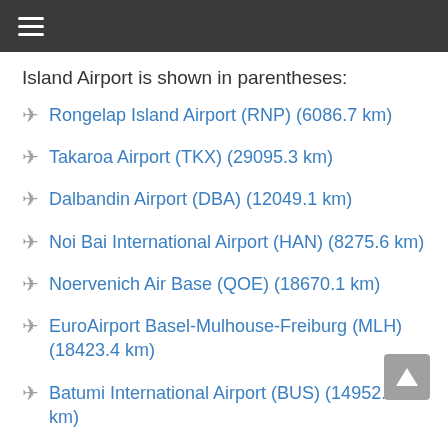☰ (menu icon)
Island Airport is shown in parentheses:
Rongelap Island Airport (RNP) (6086.7 km)
Takaroa Airport (TKX) (29095.3 km)
Dalbandin Airport (DBA) (12049.1 km)
Noi Bai International Airport (HAN) (8275.6 km)
Noervenich Air Base (QOE) (18670.1 km)
EuroAirport Basel-Mulhouse-Freiburg (MLH) (18423.4 km)
Batumi International Airport (BUS) (14952.2 km)
Chișinău International Airport (KIV) (16418.2…